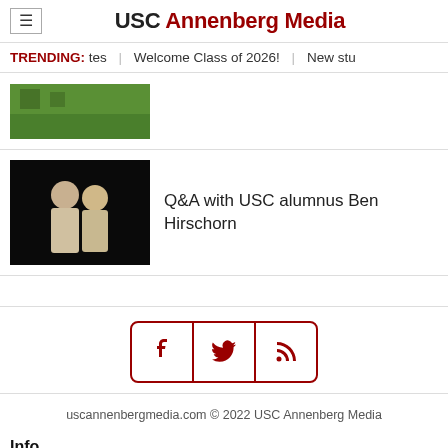USC Annenberg Media
TRENDING: tes | Welcome Class of 2026! | New stu
[Figure (photo): Green field/sports image, partially cropped]
[Figure (photo): Two people on a dark stage, USC alumnus Ben Hirschorn Q&A]
Q&A with USC alumnus Ben Hirschorn
[Figure (infographic): Social media icons: Facebook, Twitter, RSS feed in bordered box]
uscannenbergmedia.com © 2022 USC Annenberg Media
Info